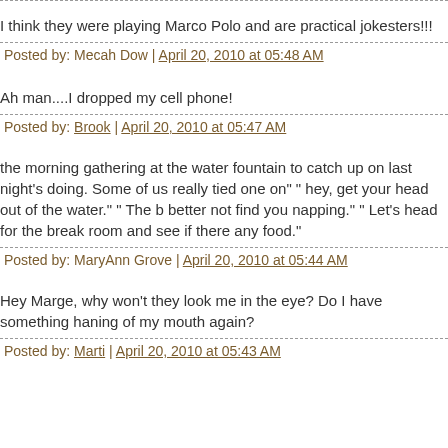I think they were playing Marco Polo and are practical jokesters!!!
Posted by: Mecah Dow | April 20, 2010 at 05:48 AM
Ah man....I dropped my cell phone!
Posted by: Brook | April 20, 2010 at 05:47 AM
the morning gathering at the water fountain to catch up on last night's doing. Some of us really tied one on" " hey, get your head out of the water." " The b better not find you napping." " Let's head for the break room and see if there any food."
Posted by: MaryAnn Grove | April 20, 2010 at 05:44 AM
Hey Marge, why won't they look me in the eye? Do I have something haning of my mouth again?
Posted by: Marti | April 20, 2010 at 05:43 AM